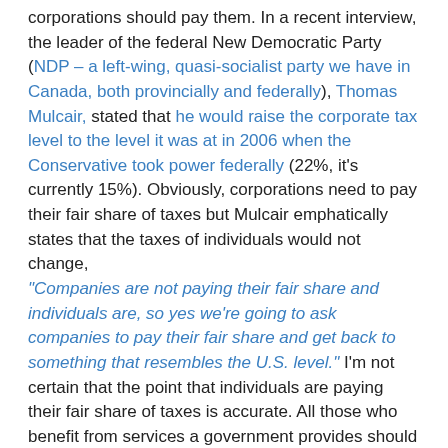corporations should pay them. In a recent interview, the leader of the federal New Democratic Party (NDP – a left-wing, quasi-socialist party we have in Canada, both provincially and federally), Thomas Mulcair,  stated that he would raise the corporate tax level to the level it was at in 2006 when the Conservative took power federally (22%, it's currently 15%). Obviously, corporations need to pay their fair share of taxes but Mulcair emphatically states that the taxes of individuals would not change, "Companies are not paying their fair share and individuals are, so yes we're going to ask companies to pay their fair share and get back to something that resembles the U.S. level." I'm not certain that the point that individuals are paying their fair share of taxes is accurate. All those who benefit from services a government provides should bear the burden of taxation within their means to pay for them.